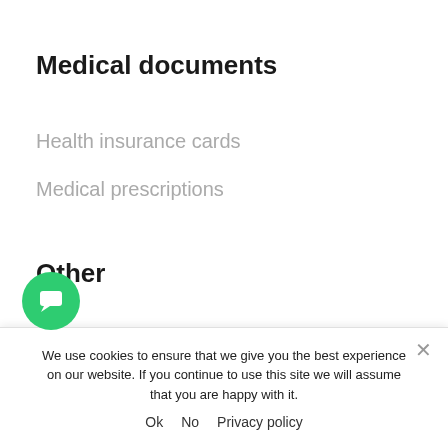Medical documents
Health insurance cards
Medical prescriptions
Other
Proof of residence
Proof of employment
Price tags
Meal cards
... e plates
We use cookies to ensure that we give you the best experience on our website. If you continue to use this site we will assume that you are happy with it.
Ok   No   Privacy policy